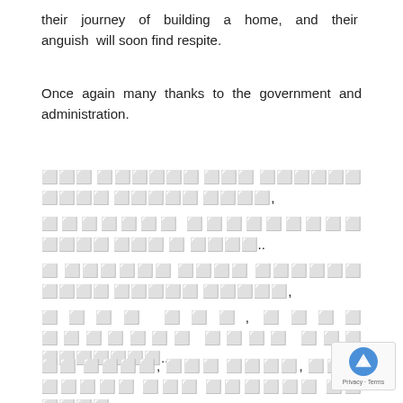their journey of building a home, and their anguish will soon find respite.
Once again many thanks to the government and administration.
□□□ □□□□□□ □□□ □□□□□□ □□□□ □□□□□ □□□□,
□□□□□□□ □□□□□□□□□ □□□□ □□□ □ □□□□..
□ □□□□□□ □□□□ □□□□□□ □□□□ □□□□□ □□□□□,
□□□□ □□□, □□□□ □□□□□□□ □□□□ □□□ □□□□□□□...
□□ □□□□, □□□ □□□□, □□□ □□□□□ □□□ □□□□□□ □□ □□□□.